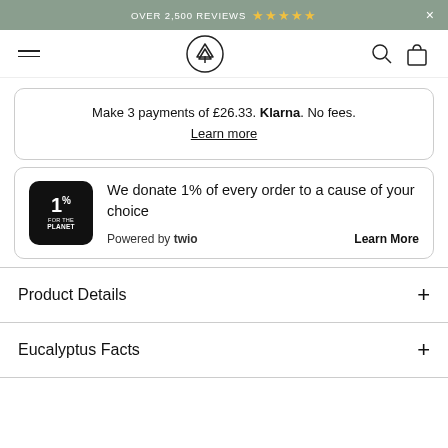OVER 2,500 REVIEWS ★★★★★
[Figure (screenshot): Navigation bar with hamburger menu, tree logo icon, search icon, and shopping bag icon]
Make 3 payments of £26.33. Klarna. No fees. Learn more
We donate 1% of every order to a cause of your choice. Powered by twio. Learn More
Product Details
Eucalyptus Facts